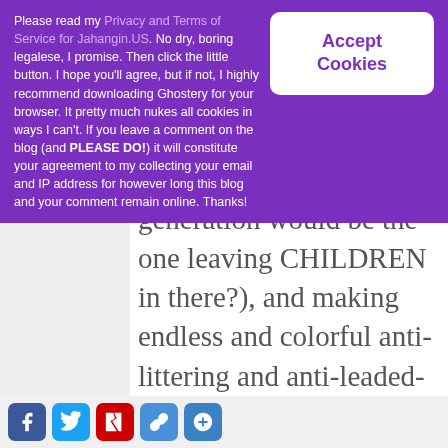Please read my Privacy and Terms of Service for Jahangin.US. No dry, boring legalese, I promise. Then click the little button. I hope you'll agree, but if not, I highly recommend downloading Ghostery for your browser. It pretty much nukes all cookies in ways I can't. If you leave a comment on the blog (and PLEASE DO!) it will constitute your agreement to my collecting your email and IP address for however long this blog and your comment remain online. Thanks!
Accept Cookies
generation would be the one leaving CHILDREN in there?), and making endless and colorful anti-littering and anti-leaded-gas posters. But I do have high hopes for this next generation. The one that's graduating high school this year, sadly savvy to the fact that the grown-ups won't fix things, so they're just going to have to take the reins early and learn to ignore childish insults from those who'd make them feel too young, too